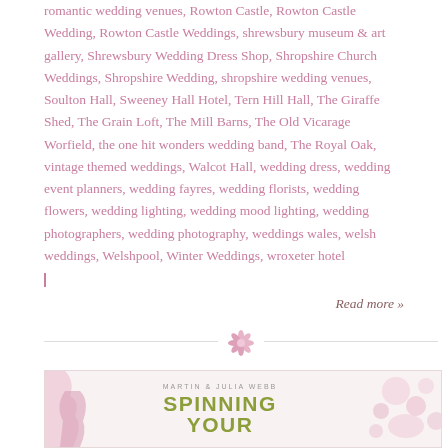romantic wedding venues, Rowton Castle, Rowton Castle Wedding, Rowton Castle Weddings, shrewsbury museum & art gallery, Shrewsbury Wedding Dress Shop, Shropshire Church Weddings, Shropshire Wedding, shropshire wedding venues, Soulton Hall, Sweeney Hall Hotel, Tern Hill Hall, The Giraffe Shed, The Grain Loft, The Mill Barns, The Old Vicarage Worfield, the one hit wonders wedding band, The Royal Oak, vintage themed weddings, Walcot Hall, wedding dress, wedding event planners, wedding fayres, wedding florists, wedding flowers, wedding lighting, wedding mood lighting, wedding photographers, wedding photography, weddings wales, welsh weddings, Welshpool, Winter Weddings, wroxeter hotel
Read more »
[Figure (illustration): Decorative horizontal divider with a small pink flower/floral motif centered between two thin horizontal lines]
[Figure (illustration): Advertisement or book cover image with text 'MARTIN & JULIA WEBB SPINNING YOUR' in olive green bold letters, with decorative pink floral elements on the right and a partial pink figure on the left, on a light pinkish background]